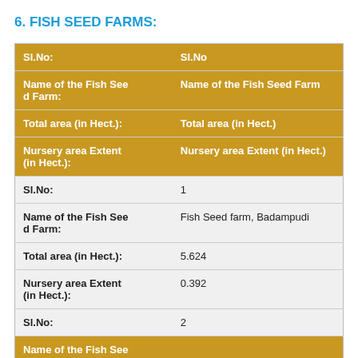6. FISH SEED FARMS:
| Field | Value |
| --- | --- |
| Sl.No: | Sl.No |
| Name of the Fish Seed Farm: | Name of the Fish Seed Farm |
| Total area (in Hect.): | Total area (in Hect.) |
| Nursery area Extent (in Hect.): | Nursery area Extent (in Hect.) |
| Sl.No: | 1 |
| Name of the Fish Seed Farm: | Fish Seed farm, Badampudi |
| Total area (in Hect.): | 5.624 |
| Nursery area Extent (in Hect.): | 0.392 |
| Sl.No: | 2 |
| Name of the Fish Seed Farm: |  |